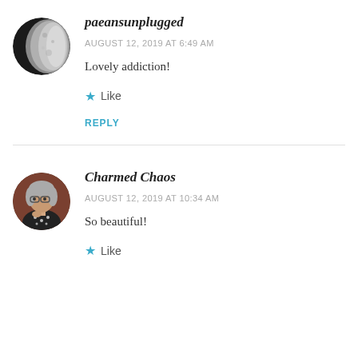[Figure (photo): Circular avatar showing a crescent moon photo]
paeansunplugged
AUGUST 12, 2019 AT 6:49 AM
Lovely addiction!
★ Like
REPLY
[Figure (photo): Circular avatar showing a woman with gray hair and glasses wearing a black and white polka dot shirt]
Charmed Chaos
AUGUST 12, 2019 AT 10:34 AM
So beautiful!
★ Like